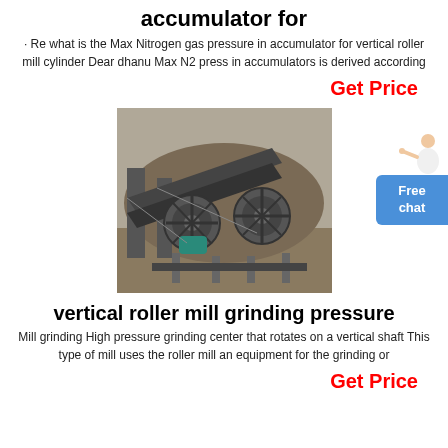accumulator for
· Re what is the Max Nitrogen gas pressure in accumulator for vertical roller mill cylinder Dear dhanu Max N2 press in accumulators is derived according
Get Price
[Figure (photo): Industrial vertical roller mill grinding machinery with large rotating wheels and conveyor structures on a construction or mining site.]
vertical roller mill grinding pressure
Mill grinding High pressure grinding center that rotates on a vertical shaft This type of mill uses the roller mill an equipment for the grinding or
Get Price